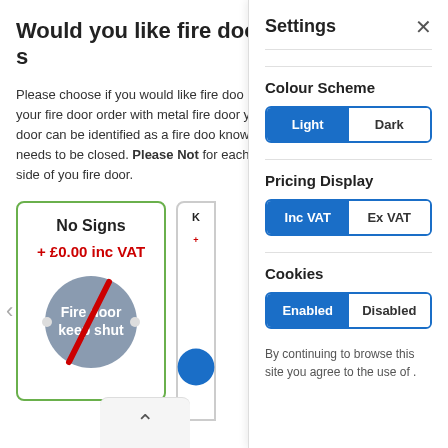Would you like fire door s
Please choose if you would like fire doo your fire door order with metal fire door your door can be identified as a fire doo know it needs to be closed. Please Not for each side of you fire door.
[Figure (illustration): Card showing No Signs option with + £0.00 inc VAT price and a grey circle with fire door keep shut text crossed out with a red diagonal line]
Settings
Colour Scheme
[Figure (screenshot): Toggle button group: Light (active/blue) and Dark (inactive/white)]
Pricing Display
[Figure (screenshot): Toggle button group: Inc VAT (active/blue) and Ex VAT (inactive/white)]
Cookies
[Figure (screenshot): Toggle button group: Enabled (active/blue) and Disabled (inactive/white)]
By continuing to browse this site you agree to the use of .